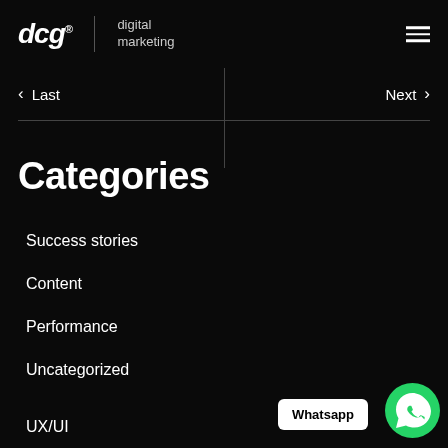dcg | digital marketing
Last   Next
Categories
Success stories
Content
Performance
Uncategorized
UX/UI
[Figure (logo): Whatsapp button with green WhatsApp icon circle]